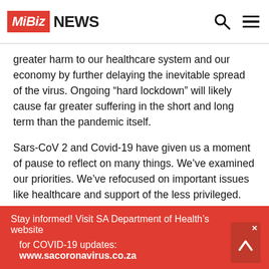MiBiz NEWS
greater harm to our healthcare system and our economy by further delaying the inevitable spread of the virus. Ongoing “hard lockdown” will likely cause far greater suffering in the short and long term than the pandemic itself.
Sars-CoV 2 and Covid-19 have given us a moment of pause to reflect on many things. We’ve examined our priorities. We’ve refocused on important issues like healthcare and support of the less privileged.
While we hope that lessons learnt will contribute positively to our new normal, it’s time to hit the play button again. If we start the wheels turning soon, we stand a chance of
Stay informed! Visit SA Department of Health’s website for COVID-19 updates: www.sacoronavirus.co.za